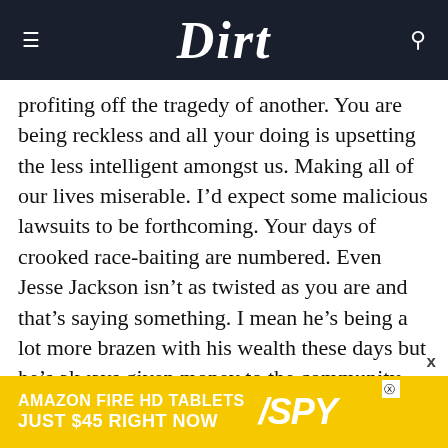Dirt
profiting off the tragedy of another. You are being reckless and all your doing is upsetting the less intelligent amongst us. Making all of our lives miserable. I’d expect some malicious lawsuits to be forthcoming. Your days of crooked race-baiting are numbered. Even Jesse Jackson isn’t as twisted as you are and that’s saying something. I mean he’s being a lot more brazen with his wealth these days but he’s always given money to the community and built businesses up. You’ve not done any of that. And he’
[Figure (screenshot): Amazon Fire HD Tablets advertisement banner: yellow background with white bold text reading 'AMAZON FIRE HD TABLETS JUST $45 RIGHT NOW' and SPY logo]